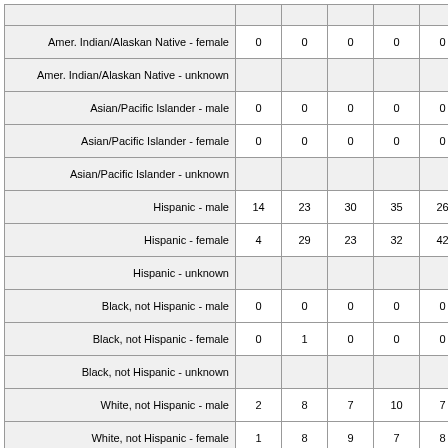|  |  |  |  |  |  |  |
| --- | --- | --- | --- | --- | --- | --- |
| Amer. Indian/Alaskan Native - female | 0 | 0 | 0 | 0 | 0 | 1 |
| Amer. Indian/Alaskan Native - unknown |  |  |  |  |  |  |
| Asian/Pacific Islander - male | 0 | 0 | 0 | 0 | 0 | 0 |
| Asian/Pacific Islander - female | 0 | 0 | 0 | 0 | 0 | 0 |
| Asian/Pacific Islander - unknown |  |  |  |  |  |  |
| Hispanic - male | 14 | 23 | 30 | 35 | 26 | 24 |
| Hispanic - female | 4 | 29 | 23 | 32 | 42 | 24 |
| Hispanic - unknown |  |  |  |  |  |  |
| Black, not Hispanic - male | 0 | 0 | 0 | 0 | 0 | 0 |
| Black, not Hispanic - female | 0 | 1 | 0 | 0 | 0 | 0 |
| Black, not Hispanic - unknown |  |  |  |  |  |  |
| White, not Hispanic - male | 2 | 8 | 7 | 10 | 7 | 6 |
| White, not Hispanic - female | 1 | 8 | 9 | 7 | 8 | 6 |
| White, not Hispanic - unknown |  |  |  |  |  |  |